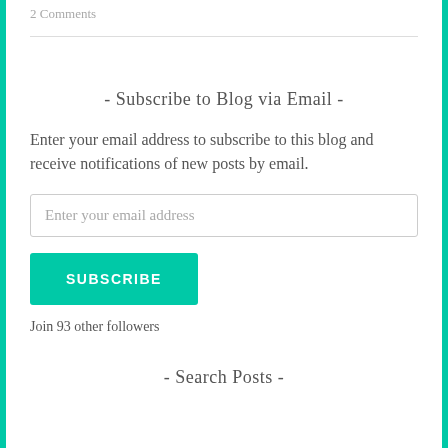2 Comments
- Subscribe to Blog via Email -
Enter your email address to subscribe to this blog and receive notifications of new posts by email.
Enter your email address
SUBSCRIBE
Join 93 other followers
- Search Posts -